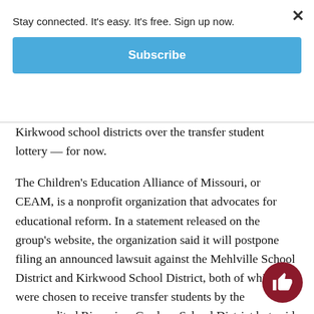Stay connected. It's easy. It's free. Sign up now.
Subscribe
Kirkwood school districts over the transfer student lottery — for now.
The Children's Education Alliance of Missouri, or CEAM, is a nonprofit organization that advocates for educational reform. In a statement released on the group's website, the organization said it will postpone filing an announced lawsuit against the Mehlville School District and Kirkwood School District, both of which were chosen to receive transfer students by the unaccredited Riverview Gardens School District but said they have limited spaces to accept students.
“Some reports in the media are suggesting Mehlville has